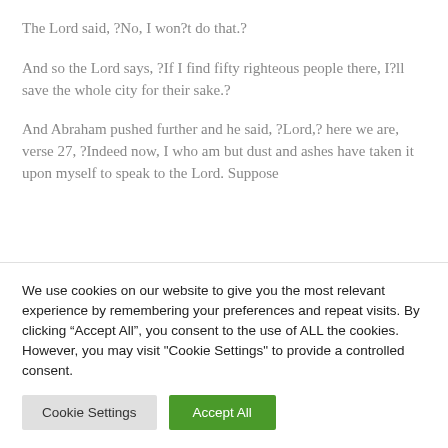The Lord said, ?No, I won?t do that.?
And so the Lord says, ?If I find fifty righteous people there, I?ll save the whole city for their sake.?
And Abraham pushed further and he said, ?Lord,? here we are, verse 27, ?Indeed now, I who am but dust and ashes have taken it upon myself to speak to the Lord. Suppose the…
We use cookies on our website to give you the most relevant experience by remembering your preferences and repeat visits. By clicking “Accept All”, you consent to the use of ALL the cookies. However, you may visit "Cookie Settings" to provide a controlled consent.